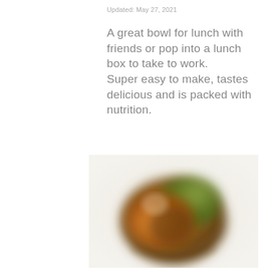Updated: May 27, 2021
A great bowl for lunch with friends or pop into a lunch box to take to work.
Super easy to make, tastes delicious and is packed with nutrition.
[Figure (photo): A blurred photograph of a colorful food bowl, likely a grain or salad bowl, with green, orange, and brown hues, viewed from slightly above, on a light background.]